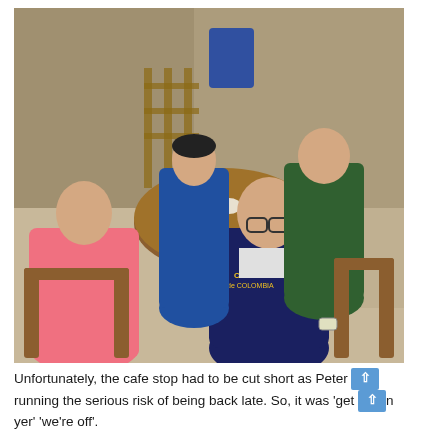[Figure (photo): Four cyclists sitting at a round wooden table in a cafe/outdoor seating area. One man in the foreground wears a blue and yellow cycling jersey with 'Cafe de Colombia' text. Another man on the left wears a pink cycling jersey. Two more cyclists are seated in the background.]
Unfortunately, the cafe stop had to be cut short as Peter was running the serious risk of being back late. So, it was 'get it down yer' 'we're off'.